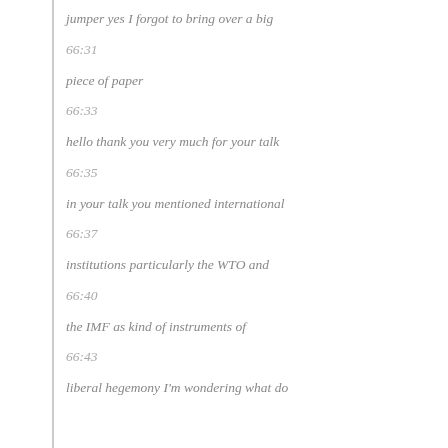jumper yes I forgot to bring over a big
66:31
piece of paper
66:33
hello thank you very much for your talk
66:35
in your talk you mentioned international
66:37
institutions particularly the WTO and
66:40
the IMF as kind of instruments of
66:43
liberal hegemony I'm wondering what do